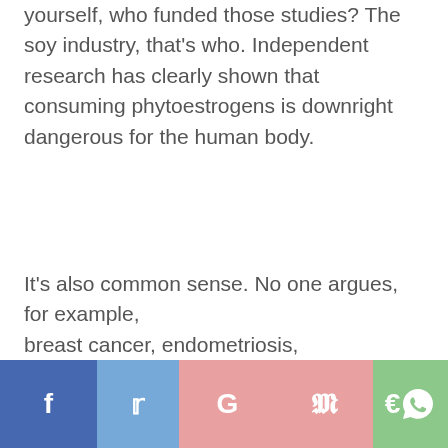yourself, who funded those studies? The soy industry, that's who. Independent research has clearly shown that consuming phytoestrogens is downright dangerous for the human body.
It's also common sense. No one argues, for example, breast cancer, endometriosis,
[Figure (other): Social media sharing buttons: Facebook, Twitter, Google, Pinterest, WhatsApp]